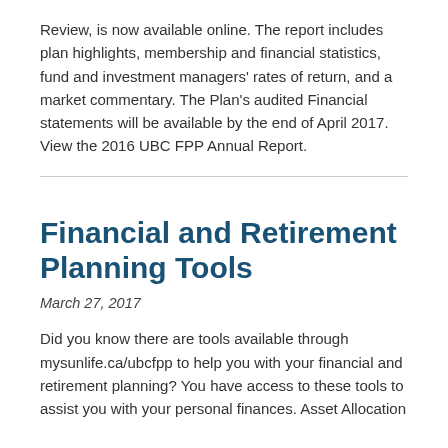Review, is now available online. The report includes plan highlights, membership and financial statistics, fund and investment managers' rates of return, and a market commentary. The Plan's audited Financial statements will be available by the end of April 2017. View the 2016 UBC FPP Annual Report.
Financial and Retirement Planning Tools
March 27, 2017
Did you know there are tools available through mysunlife.ca/ubcfpp to help you with your financial and retirement planning? You have access to these tools to assist you with your personal finances. Asset Allocation